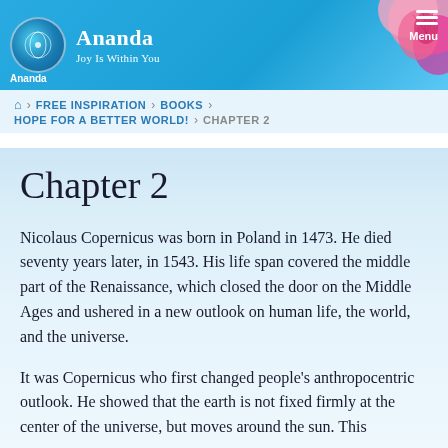Ananda — Joy Is Within You
FREE INSPIRATION > BOOKS > HOPE FOR A BETTER WORLD! > CHAPTER 2
Chapter 2
Nicolaus Copernicus was born in Poland in 1473. He died seventy years later, in 1543. His life span covered the middle part of the Renaissance, which closed the door on the Middle Ages and ushered in a new outlook on human life, the world, and the universe.
It was Copernicus who first changed people's anthropocentric outlook. He showed that the earth is not fixed firmly at the center of the universe, but moves around the sun. This